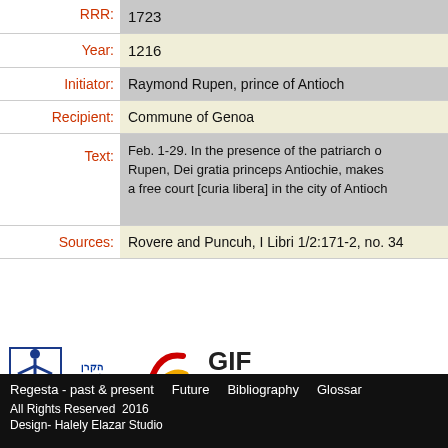| Field | Value |
| --- | --- |
| RRR: | 1723 |
| Year: | 1216 |
| Initiator: | Raymond Rupen, prince of Antioch |
| Recipient: | Commune of Genoa |
| Text: | Feb. 1-29. In the presence of the patriarch o... Rupen, Dei gratia princeps Antiochie, makes... a free court [curia libera] in the city of Antioch... |
| Sources: | Rovere and Puncuh, I Libri 1/2:171-2, no. 34... |
[Figure (logo): Israel Science Foundation logo and German-Israeli Foundation for Scientific Research and Development (GIF) logo]
Regesta - past & present   Future   Bibliography   Glossar...
All Rights Reserved  2016
Design- Halely Elazar Studio